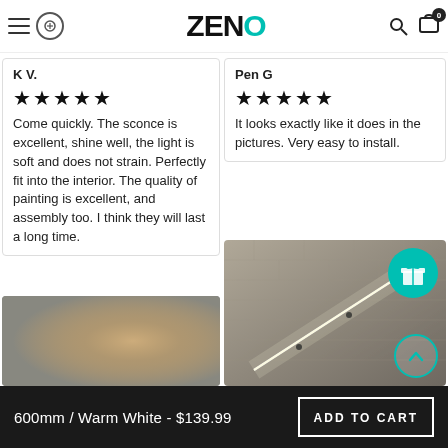ZENQ
K V.
★★★★★
Come quickly. The sconce is excellent, shine well, the light is soft and does not strain. Perfectly fit into the interior. The quality of painting is excellent, and assembly too. I think they will last a long time.
Pen G
★★★★★
It looks exactly like it does in the pictures. Very easy to install.
[Figure (photo): Photo of a soft warm light glow against a neutral background]
[Figure (photo): Photo of LED wall sconce lighting mounted on a brick wall, illuminating diagonally]
600mm / Warm White - $139.99  ADD TO CART